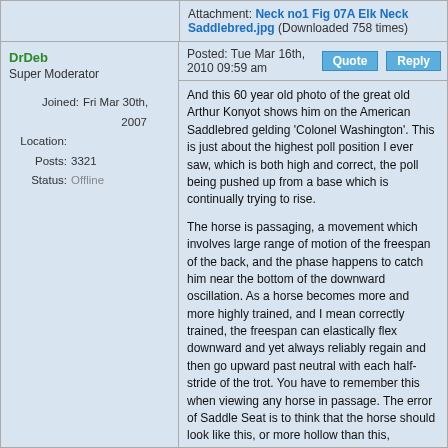Attachment: Neck no1 Fig 07A Elk Neck Saddlebred.jpg (Downloaded 758 times)
DrDeb
Super Moderator
Joined: Fri Mar 30th, 2007
Location:
Posts: 3321
Status: Offline
Posted: Tue Mar 16th, 2010 09:59 am
And this 60 year old photo of the great old Arthur Konyot shows him on the American Saddlebred gelding 'Colonel Washington'. This is just about the highest poll position I ever saw, which is both high and correct, the poll being pushed up from a base which is continually trying to rise.

The horse is passaging, a movement which involves large range of motion of the freespan of the back, and the phase happens to catch him near the bottom of the downward oscillation. As a horse becomes more and more highly trained, and I mean correctly trained, the freespan can elastically flex downward and yet always reliably regain and then go upward past neutral with each half-stride of the trot. You have to remember this when viewing any horse in passage. The error of Saddle Seat is to think that the horse should look like this, or more hollow than this, continuously; and then to pile error on top of erroneous belief, by confusing cause and effect, and thus choosing to first 'break the horse back' at the base of the neck, and pound the back down to ensure that it remain hollow, and by that means get the knees up. Totally and utterly backwards, to the great discomfort and destruction of many a fine horse.

You see why the ASB is my all-time favorite breed; it's tragic that there are so few purebreds around today who can present the substance of this extremely handsome horse. There is no breed in the world that passages as naturally or as effortlessly as the ASB, and yet by their rulebook today, if the horse passage even so much as to go get his ribbon, he is disqualified.